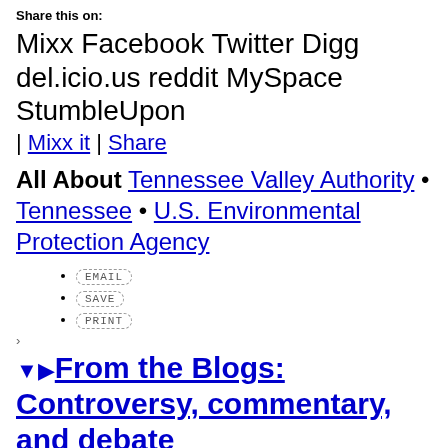Share this on:
Mixx Facebook Twitter Digg del.icio.us reddit MySpace StumbleUpon
| Mixx it | Share
All About Tennessee Valley Authority • Tennessee • U.S. Environmental Protection Agency
EMAIL
SAVE
PRINT
▼▶From the Blogs: Controversy, commentary, and debate
Top News
Senators 'troubled' after Rice meeting
Bergen: Senseless Benghazi obsession